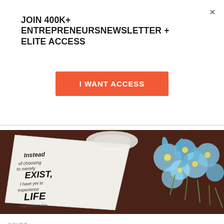×
JOIN 400K+ ENTREPRENEURSNEWSLETTER + ELITE ACCESS
I WANT ACCESS
[Figure (photo): Photo of an open notebook with handwritten text reading 'Instead of choosing to merely exist, I have yet to experience life, I was born to live' alongside a bouquet of blue daisies on a dark wooden surface.]
COVET
ZOOL ORGANICS COLOMBIAN SUPREMO
CBD Super Coffee Colombian Supremo Organic Coffee •CAREFULLY SELECTED: supremo beans roasted to perfection for your enjoyment. •TASTE PROFILE: Bright acidity, sweet-toned,